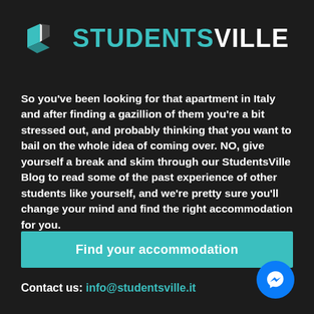[Figure (logo): StudentsVille logo: teal building/house icon on the left, text 'STUDENTSVILLE' with 'STUDENTS' in teal and 'VILLE' in white, bold sans-serif font]
So you've been looking for that apartment in Italy and after finding a gazillion of them you're a bit stressed out, and probably thinking that you want to bail on the whole idea of coming over. NO, give yourself a break and skim through our StudentsVille Blog to read some of the past experience of other students like yourself, and we're pretty sure you'll change your mind and find the right accommodation for you.
Find your accommodation
Contact us: info@studentsville.it